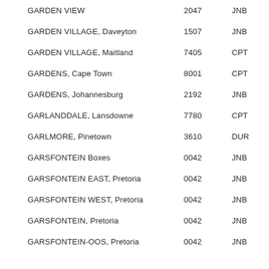| GARDEN VIEW | 2047 | JNB |
| GARDEN VILLAGE, Daveyton | 1507 | JNB |
| GARDEN VILLAGE, Maitland | 7405 | CPT |
| GARDENS, Cape Town | 8001 | CPT |
| GARDENS, Johannesburg | 2192 | JNB |
| GARLANDDALE, Lansdowne | 7780 | CPT |
| GARLMORE, Pinetown | 3610 | DUR |
| GARSFONTEIN Boxes | 0042 | JNB |
| GARSFONTEIN EAST, Pretoria | 0042 | JNB |
| GARSFONTEIN WEST, Pretoria | 0042 | JNB |
| GARSFONTEIN, Pretoria | 0042 | JNB |
| GARSFONTEIN-OOS, Pretoria | 0042 | JNB |